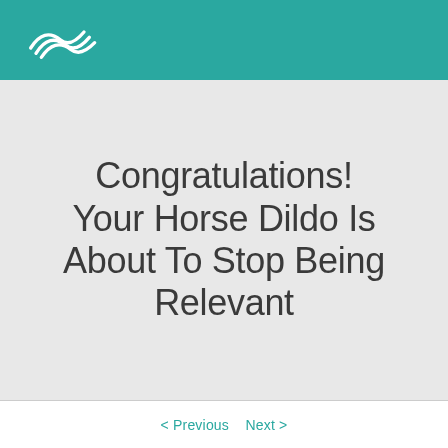[Figure (logo): White wave/swoosh logo on teal background header bar]
Congratulations! Your Horse Dildo Is About To Stop Being Relevant
< Previous   Next >